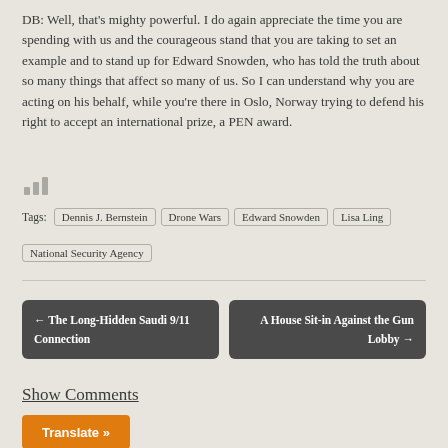DB: Well, that's mighty powerful. I do again appreciate the time you are spending with us and the courageous stand that you are taking to set an example and to stand up for Edward Snowden, who has told the truth about so many things that affect so many of us. So I can understand why you are acting on his behalf, while you're there in Oslo, Norway trying to defend his right to accept an international prize, a PEN award.
[Figure (infographic): Small bar chart icon (three ascending bars) in grey]
Tags: Dennis J. Bernstein | Drone Wars | Edward Snowden | Lisa Ling | National Security Agency
← The Long-Hidden Saudi 9/11 Connection
A House Sit-in Against the Gun Lobby →
Show Comments
Translate »